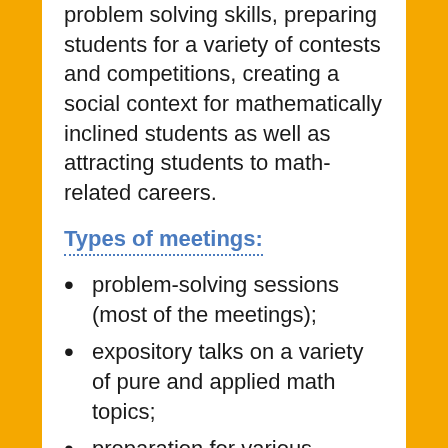problem solving skills, preparing students for a variety of contests and competitions, creating a social context for mathematically inclined students as well as attracting students to math-related careers.
Types of meetings:
problem-solving sessions (most of the meetings);
expository talks on a variety of pure and applied math  topics;
preparation for various competitions, such as American